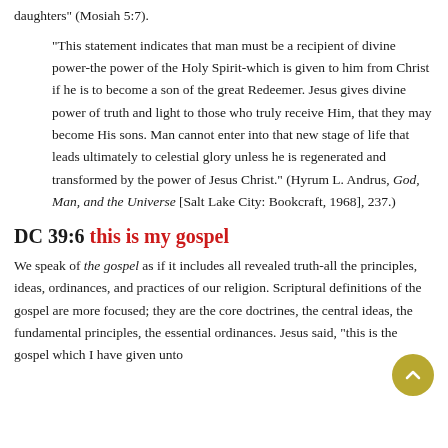daughters" (Mosiah 5:7).
"This statement indicates that man must be a recipient of divine power-the power of the Holy Spirit-which is given to him from Christ if he is to become a son of the great Redeemer. Jesus gives divine power of truth and light to those who truly receive Him, that they may become His sons. Man cannot enter into that new stage of life that leads ultimately to celestial glory unless he is regenerated and transformed by the power of Jesus Christ." (Hyrum L. Andrus, God, Man, and the Universe [Salt Lake City: Bookcraft, 1968], 237.)
DC 39:6 this is my gospel
We speak of the gospel as if it includes all revealed truth-all the principles, ideas, ordinances, and practices of our religion. Scriptural definitions of the gospel are more focused; they are the core doctrines, the central ideas, the fundamental principles, the essential ordinances. Jesus said, "this is the gospel which I have given unto